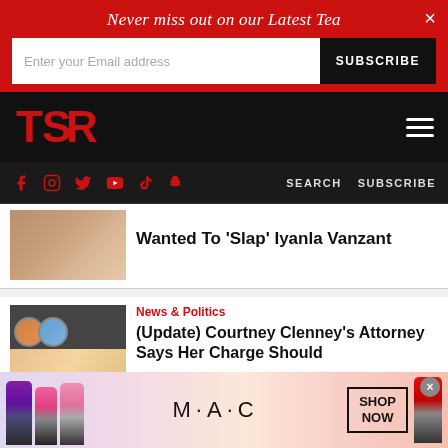Never miss out on our Latest Tea
Enter your Email address
SUBSCRIBE
[Figure (logo): TSR (The Shade Room) logo in red on black background]
[Figure (infographic): Social media icons: Facebook, Instagram, Twitter, YouTube, TikTok, Snapchat in red; SEARCH and SUBSCRIBE links]
Wanted To 'Slap' Iyanla Vanzant
News & Politics
(Update) Courtney Clenney's Attorney Says Her Charge Should
[Figure (photo): MAC cosmetics advertisement showing lipsticks with SHOP NOW button]